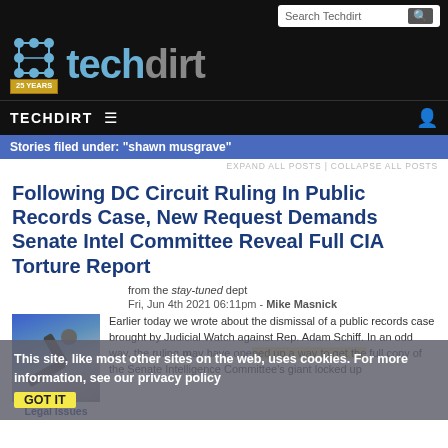Search Techdirt
[Figure (logo): Techdirt logo with 25 YEARS badge, teal and gray text on black background]
TECHDIRT ≡
Stories filed under: "shawn musgrave"
EXPAND ALL POSTS | COLLAPSE ALL POSTS
Following DC Circuit Ruling In Public Records Case, New Request Demands Senate Intel Committee Reveal Full CIA Torture Report
from the stay-tuned dept
Fri, Jun 4th 2021 06:11pm - Mike Masnick
Earlier today we wrote about the dismissal of a public records case brought by Judicial Watch against Rep. Adam Schiff. In an odd way, the ruling may have opened up a way to get the full copy of the Senate Intelligence Committee's giant locked up
This site, like most other sites on the web, uses cookies. For more information, see our privacy policy
GOT IT
Legal Issues